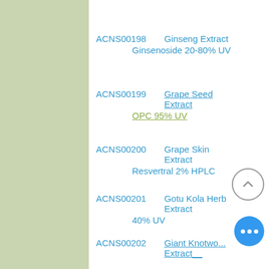ACNS00198   Ginseng Extract
  Ginsenoside 20-80% UV
ACNS00199   Grape Seed Extract
  OPC 95% UV
ACNS00200   Grape Skin Extract
  Resvertral 2% HPLC
ACNS00201   Gotu Kola Herb Extract
  40% UV
ACNS00202   Giant Knotweed Extract
  Resveratrol 20%-98% HPLC
ACNS00203   Green Tea Extract